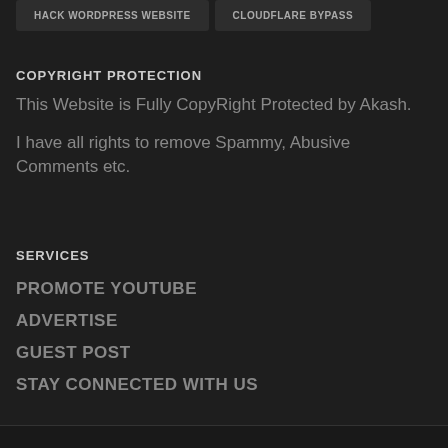HACK WORDPRESS WEBSITE
CLOUDFLARE BYPASS
COPYRIGHT PROTECTION
This Website is Fully CopyRight Protected by Akash.
I have all rights to remove Spammy, Abusive Comments etc.
SERVICES
PROMOTE YOUTUBE
ADVERTISE
GUEST POST
STAY CONNECTED WITH US